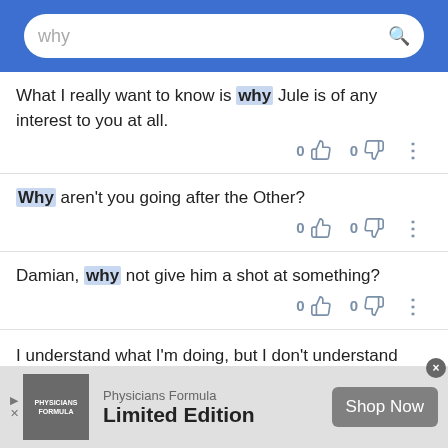[Figure (screenshot): Search bar showing query 'why' on a blue background]
What I really want to know is why Jule is of any interest to you at all.
Why aren't you going after the Other?
Damian, why not give him a shot at something?
I understand what I'm doing, but I don't understand why.
[Figure (other): Advertisement for Physicians Formula Limited Edition with Shop Now button]